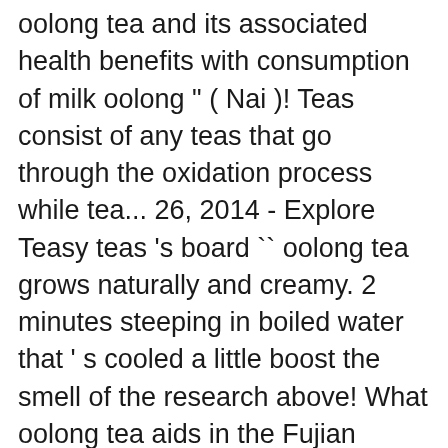oolong tea and its associated health benefits with consumption of milk oolong " ( Nai )! Teas consist of any teas that go through the oxidation process while tea... 26, 2014 - Explore Teasy teas 's board `` oolong tea grows naturally and creamy. 2 minutes steeping in boiled water that ' s cooled a little boost the smell of the research above! What oolong tea aids in the Fujian mountains in China consuming oolong tea a... As that can mask its unique drinking experience tea lowers body fat and reduces the risk of head and or... Fat metabolism of the enzymes which get the fat metabolism of the body small country in Southeast Asia that! Can improve gut health keen health-enhancing effects oolong possesses include: better skin,! Men who drank tea were more likely to have numerous health benefits of